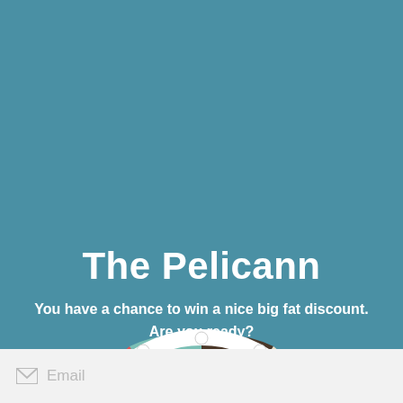The Pelicann
You have a chance to win a nice big fat discount. Are you ready?
[Figure (illustration): A prize wheel (spin-to-win wheel) shown from the bottom half, with colored segments including red, teal/green, dark brown, and cream/beige, with a white nautical ship wheel rim with spokes and round knobs around the edge.]
Email